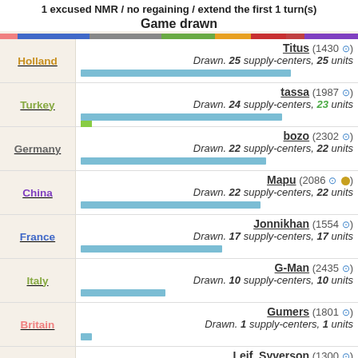1 excused NMR / no regaining / extend the first 1 turn(s)
Game drawn
| Country | Player | Result |
| --- | --- | --- |
| Holland | Titus (1430 ✓) | Drawn. 25 supply-centers, 25 units |
| Turkey | tassa (1987 ✓) | Drawn. 24 supply-centers, 23 units |
| Germany | bozo (2302 ✓) | Drawn. 22 supply-centers, 22 units |
| China | Mapu (2086 ✓ ●) | Drawn. 22 supply-centers, 22 units |
| France | Jonnikhan (1554 ✓) | Drawn. 17 supply-centers, 17 units |
| Italy | G-Man (2435 ✓) | Drawn. 10 supply-centers, 10 units |
| Britain | Gumers (1801 ✓) | Drawn. 1 supply-centers, 1 units |
| Russia | Leif_Syverson (1300 ✓) | Drawn. 1 supply-centers, 1 units |